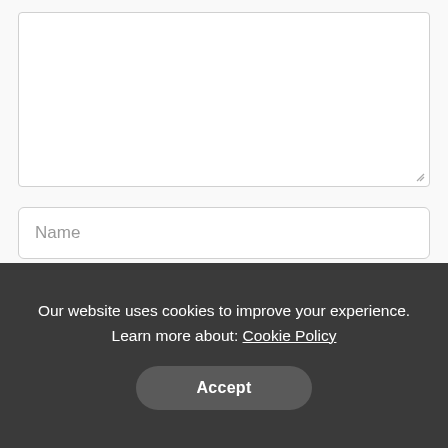[Figure (screenshot): A large empty textarea input box with a resize handle in the bottom-right corner, on a light gray background.]
Name
Email
Our website uses cookies to improve your experience. Learn more about: Cookie Policy
Accept